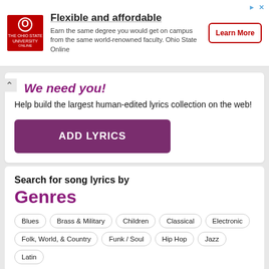[Figure (logo): Advertisement banner: Ohio State University Online logo (red square with O), title 'Flexible and affordable', body text 'Earn the same degree you would get on campus from the same world-renowned faculty. Ohio State Online', and a 'Learn More' button.]
We need you!
Help build the largest human-edited lyrics collection on the web!
ADD LYRICS
Search for song lyrics by
Genres
Blues
Brass & Military
Children
Classical
Electronic
Folk, World, & Country
Funk / Soul
Hip Hop
Jazz
Latin